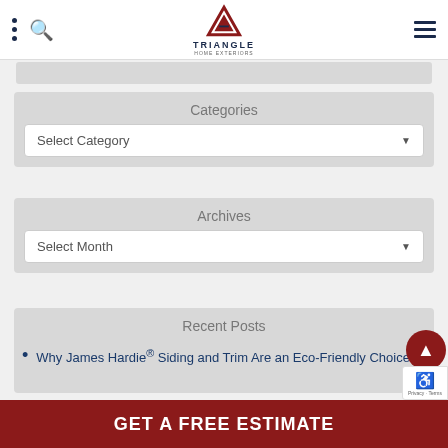Triangle Home Exteriors - navigation header
Categories
Select Category
Archives
Select Month
Recent Posts
Why James Hardie® Siding and Trim Are an Eco-Friendly Choice
GET A FREE ESTIMATE